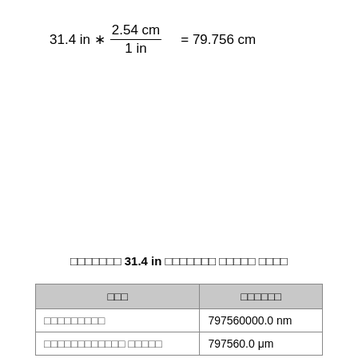□□□□□□□ 31.4 in □□□□□□□ □□□□□ □□□□
| □□□ | □□□□□□ |
| --- | --- |
| □□□□□□□□□ | 797560000.0 nm |
| □□□□□□□□□□□□ □□□□□ | 797560.0 μm |